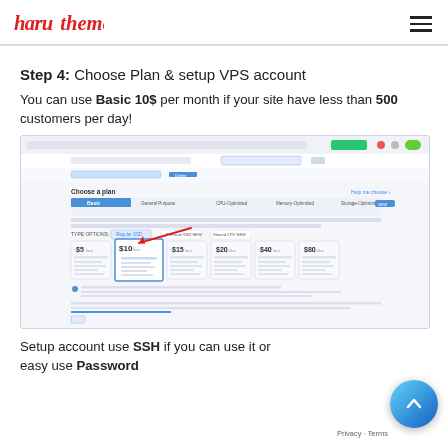haru theme
Step 4: Choose Plan & setup VPS account
You can use Basic 10$ per month if your site have less than 500 customers per day!
[Figure (screenshot): Screenshot of a VPS hosting plan selection interface showing 'Choose a plan' with tabs: Basic, General Purpose, CPU-Optimized, Memory-Optimized, Storage-Optimized. Various plan tiers are shown ($5, $10, $15, $20, $40, $80) with an arrow pointing to the $10 plan.]
Setup account use SSH if you can use it or easy use Password